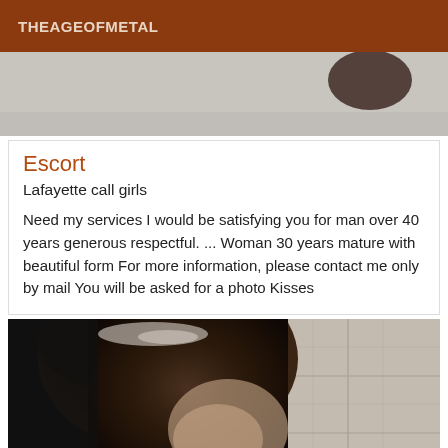THEAGEOFMETAL
[Figure (photo): Partial photo visible at top, grey/beige background with dark object]
Escort
Lafayette call girls
Need my services I would be satisfying you for man over 40 years generous respectful. ... Woman 30 years mature with beautiful form For more information, please contact me only by mail You will be asked for a photo Kisses
[Figure (photo): Photo of a person with dark brown hair, tiled background visible]